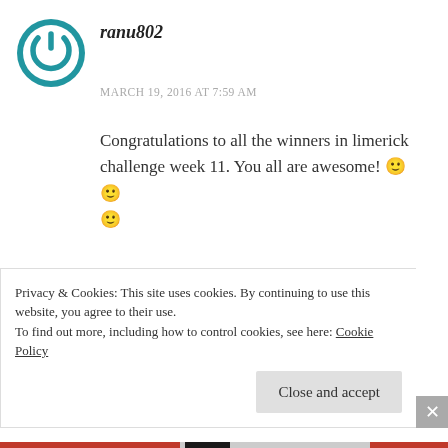[Figure (logo): Blue circular power button icon / avatar for user ranu802]
ranu802
MARCH 19, 2016 AT 7:59 AM
Congratulations to all the winners in limerick challenge week 11. You all are awesome! 🙂 🙂 🙂
★ Liked by 4 people
REPLY
Privacy & Cookies: This site uses cookies. By continuing to use this website, you agree to their use.
To find out more, including how to control cookies, see here: Cookie Policy
Close and accept